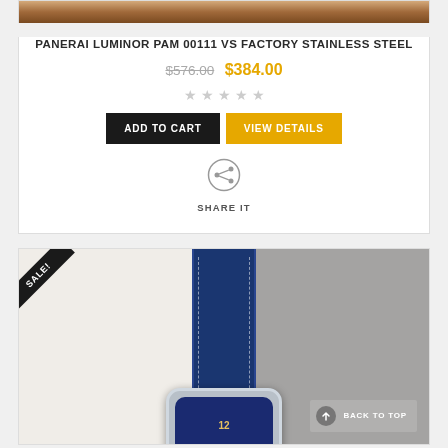[Figure (photo): Top portion of a watch with brown leather strap visible]
PANERAI LUMINOR PAM 00111 VS FACTORY STAINLESS STEEL
$576.00 $384.00
[Figure (other): Five empty star rating icons]
ADD TO CART | VIEW DETAILS
SHARE IT
[Figure (photo): Panerai Luminor watch with blue leather strap, SALE! badge in top left corner, BACK TO TOP button in bottom right]